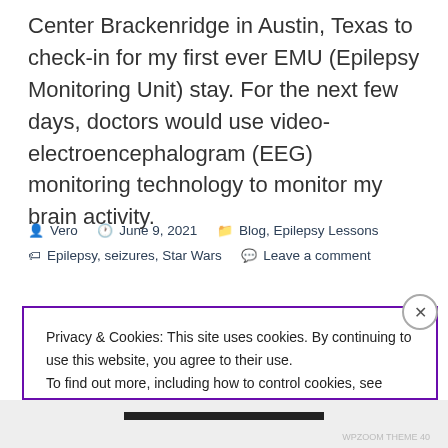Center Brackenridge in Austin, Texas to check-in for my first ever EMU (Epilepsy Monitoring Unit) stay. For the next few days, doctors would use video-electroencephalogram (EEG) monitoring technology to monitor my brain activity.
Vero  June 9, 2021  Blog, Epilepsy Lessons  Epilepsy, seizures, Star Wars  Leave a comment
Privacy & Cookies: This site uses cookies. By continuing to use this website, you agree to their use. To find out more, including how to control cookies, see here: Cookie Policy
Close and accept